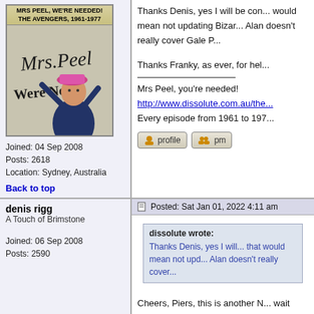[Figure (photo): Forum avatar showing a woman in a pink hat in front of a Mrs Peel We're Needed The Avengers 1961-1977 sign]
Joined: 04 Sep 2008
Posts: 2618
Location: Sydney, Australia
Back to top
Thanks Denis, yes I will be con... would mean not updating Bizar... Alan doesn't really cover Gale P...
Thanks Franky, as ever, for hel...
Mrs Peel, you're needed!
http://www.dissolute.com.au/the...
Every episode from 1961 to 197...
denis rigg
A Touch of Brimstone
Joined: 06 Sep 2008
Posts: 2590
Posted: Sat Jan 01, 2022 4:11 am
dissolute wrote:
Thanks Denis, yes I will... that would mean not upd... Alan doesn't really cover...
Cheers, Piers, this is another N... wait until the last episode if The...
Here's how. Well, it is possible t...